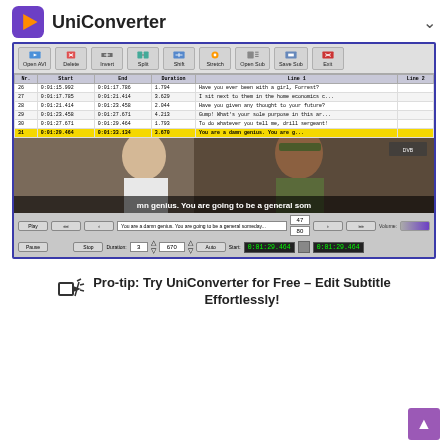UniConverter
[Figure (screenshot): UniConverter subtitle editor software screenshot showing a subtitle list with timecodes and lines, a video preview frame showing a scene from Forrest Gump with subtitle text 'mn genius. You are going to be a general som', and media player controls with timecode 0:01:29.464]
Pro-tip: Try UniConverter for Free – Edit Subtitle Effortlessly!